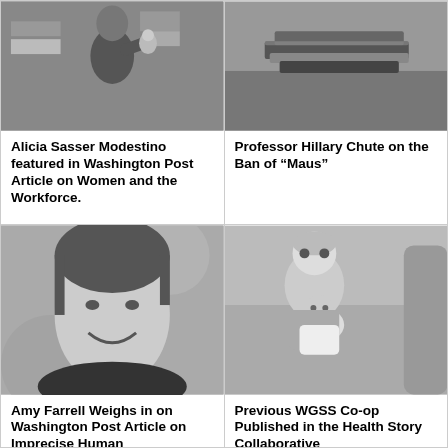[Figure (photo): Black and white photo of a person holding a baby]
Alicia Sasser Modestino featured in Washington Post Article on Women and the Workforce.
[Figure (photo): Black and white photo of a stack of books]
Professor Hillary Chute on the Ban of “Maus”
[Figure (photo): Black and white photo of a smiling woman wearing a necklace]
Amy Farrell Weighs in on Washington Post Article on Imprecise Human
[Figure (photo): Black and white photo of a young child with a baby]
Previous WGSS Co-op Published in the Health Story Collaborative